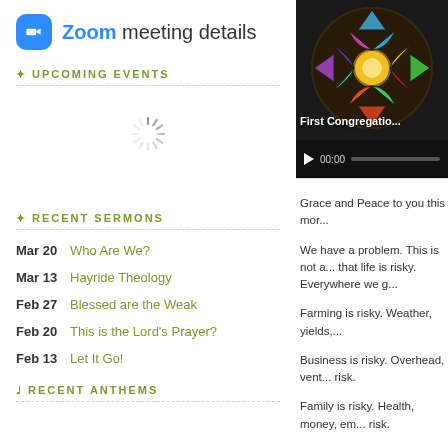Zoom meeting details
UPCOMING EVENTS
[Figure (other): Loading spinner animation]
[Figure (screenshot): Video thumbnail showing stained glass window with text 'First Congregatio...' and video controls showing 00:00]
RECENT SERMONS
Mar 20   Who Are We?
Mar 13   Hayride Theology
Feb 27   Blessed are the Weak
Feb 20   This is the Lord's Prayer?
Feb 13   Let It Go!
RECENT ANTHEMS
Grace and Peace to you this mor...
We have a problem. This is not a... that life is risky. Everywhere we g...
Farming is risky. Weather, yields,...
Business is risky. Overhead, vent... risk.
Family is risky. Health, money, em... risk.